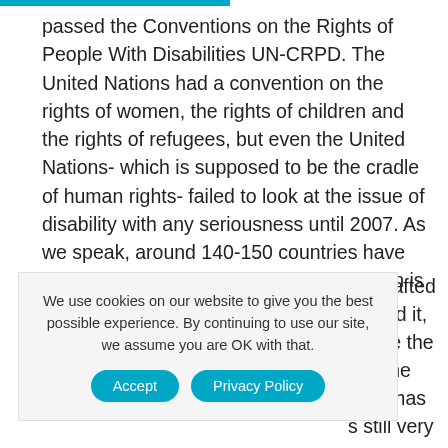passed the Conventions on the Rights of People With Disabilities UN-CRPD. The United Nations had a convention on the rights of women, the rights of children and the rights of refugees, but even the United Nations- which is supposed to be the cradle of human rights- failed to look at the issue of disability with any seriousness until 2007. As we speak, around 140-150 countries have ratified it, and many have not. My concern is
en drafted ratified it, to see the vith the RPD has s still very
We use cookies on our website to give you the best possible experience. By continuing to use our site, we assume you are OK with that.